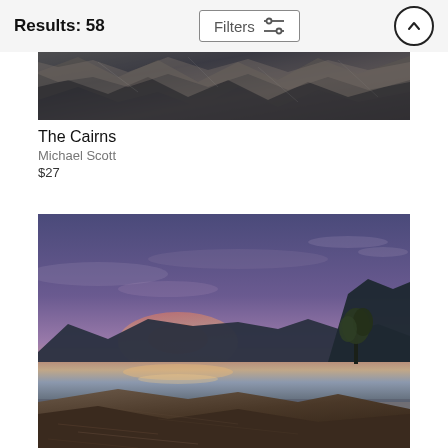Results: 58  Filters
[Figure (photo): Partial view of The Cairns photograph showing rocks and stones, cropped at top]
The Cairns
Michael Scott
$27
[Figure (photo): Landscape sunset photo showing a calm lake reflecting pink and orange sunset colors, with dark mountain silhouettes in background and rocky shoreline with a small tree in foreground]